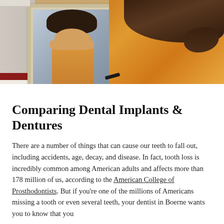[Figure (photo): A woman with curly brown hair in an orange/mustard top looking at herself in an ornate white-framed mirror, viewed from behind. The mirror reflection shows her face resting on her hands. Background includes gray walls and a red element at bottom left.]
Comparing Dental Implants & Dentures
There are a number of things that can cause our teeth to fall out, including accidents, age, decay, and disease. In fact, tooth loss is incredibly common among American adults and affects more than 178 million of us, according to the American College of Prosthodontists. But if you're one of the millions of Americans missing a tooth or even several teeth, your dentist in Boerne wants you to know that you